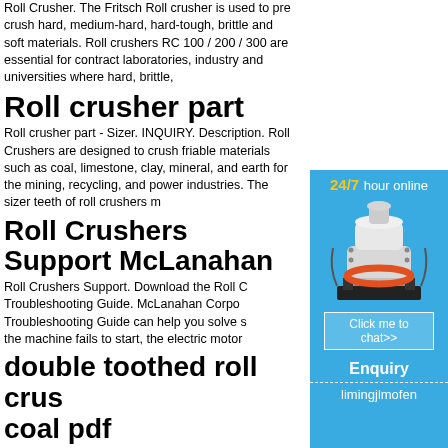Roll Crusher. The Fritsch Roll crusher is used to pre crush hard, medium-hard, hard-tough, brittle and soft materials. Roll crushers RC 100 / 200 / 300 are essential for contract laboratories, industry and universities where hard, brittle,
Roll crusher part
Roll crusher part - Sizer. INQUIRY. Description. Roll Crushers are designed to crush friable materials such as coal, limestone, clay, mineral, and earth for the mining, recycling, and power industries. The sizer teeth of roll crushers m
Roll Crushers Support McLanahan
Roll Crushers Support. Download the Roll C Troubleshooting Guide. McLanahan Corpo Troubleshooting Guide can help you solve the machine fails to start, the electric motor
double toothed roll crus coal pdf
Double Roll Crusher - McNally Sayaji. Toot
[Figure (infographic): Sidebar advertisement with '24/7 hour online' text, image of a cone crusher machine, 'Click me to chat>>' button, 'Enquiry' section, and 'limingjlmofen' text at bottom.]